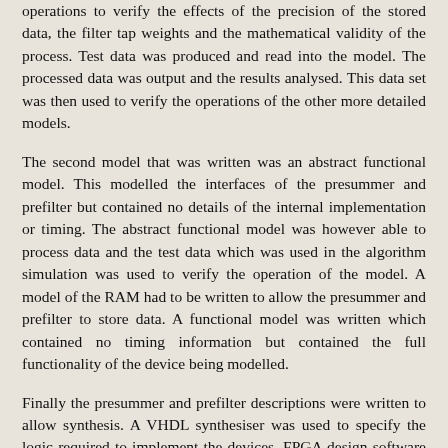operations to verify the effects of the precision of the stored data, the filter tap weights and the mathematical validity of the process. Test data was produced and read into the model. The processed data was output and the results analysed. This data set was then used to verify the operations of the other more detailed models.
The second model that was written was an abstract functional model. This modelled the interfaces of the presummer and prefilter but contained no details of the internal implementation or timing. The abstract functional model was however able to process data and the test data which was used in the algorithm simulation was used to verify the operation of the model. A model of the RAM had to be written to allow the presummer and prefilter to store data. A functional model was written which contained no timing information but contained the full functionality of the device being modelled.
Finally the presummer and prefilter descriptions were written to allow synthesis. A VHDL synthesiser was used to specify the logic required to implement the devices. FPGA design software was then used to place-and-route the logic and finally a FPGA configuration file was produced. Back-annotated VHDL source code was also produced by the FPGA design software. This was a gate level VHDL model of the device and included timing information which reflected the internal delays of the FPGA. This model was used in the test bench for the functional model to suite it suit it suit the suit the